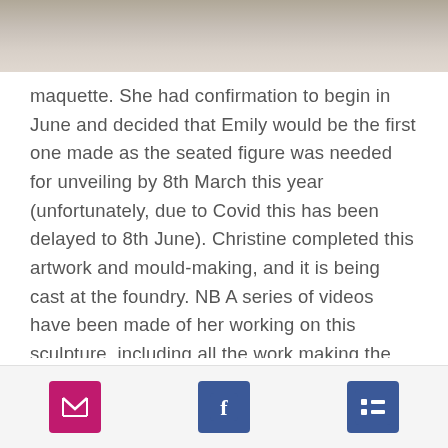[Figure (photo): Partial photo of a sculpture or artwork in progress, showing hands or clay material, cropped at top of page]
maquette. She had confirmation to begin in June and decided that Emily would be the first one made as the seated figure was needed for unveiling by 8th March this year (unfortunately, due to Covid this has been delayed to 8th June). Christine completed this artwork and mould-making, and it is being cast at the foundry. NB A series of videos have been made of her working on this sculpture, including all the work making the mould and casting at the foundry. There are 4 videos to see on emily davison memorial project on Facebook, YouTube and other social media channels.
[Figure (infographic): Footer bar with three icon buttons: email (pink/magenta envelope icon), Facebook (blue Facebook logo), and a blue list/menu icon]